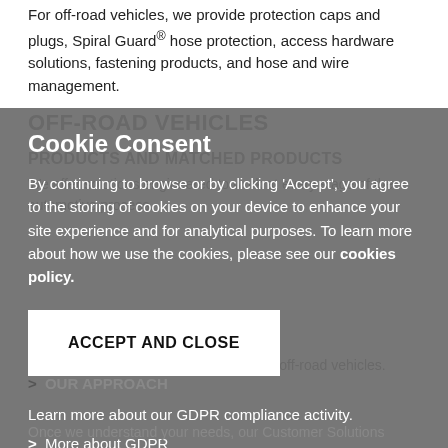For off-road vehicles, we provide protection caps and plugs, Spiral Guard® hose protection, access hardware solutions, fastening products, and hose and wire management.
Cookie Consent
By continuing to browse or by clicking 'Accept', you agree to the storing of cookies on your device to enhance your site experience and for analytical purposes. To learn more about how we use the cookies, please see our cookies policy.
ACCEPT AND CLOSE
Learn more about our GDPR compliance activity.
> More about GDPR
> OUR APPROACH
Once we understand your needs, our Customer Solutions